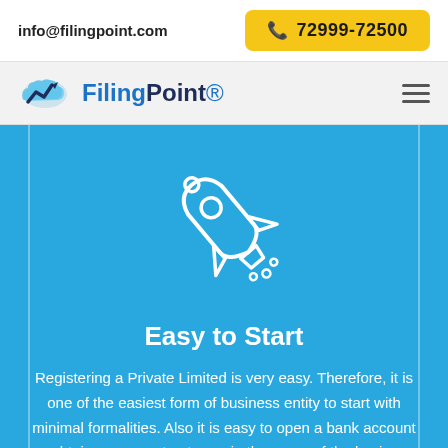info@filingpoint.com
72999-72500
[Figure (logo): FilingPoint logo with cloud and upward arrow graphic, text reads FilingPoint]
[Figure (illustration): White rocket ship icon launching diagonally upward on blue background]
Easy to Start
Registering a Private Limited is very easy. Therefore, it is one of the easiest form of business entity to start with minimal formalities. Also it is easy to open a bank account or obtain a payment gateway in the name of the business (or) obtain other registrations like GST